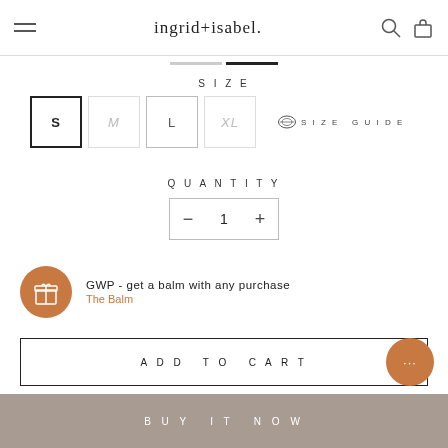ingrid+isabel.
SIZE
S  M  L  XL  SIZE GUIDE
QUANTITY
- 1 +
GWP - get a balm with any purchase
The Balm
ADD TO CART
BUY IT NOW